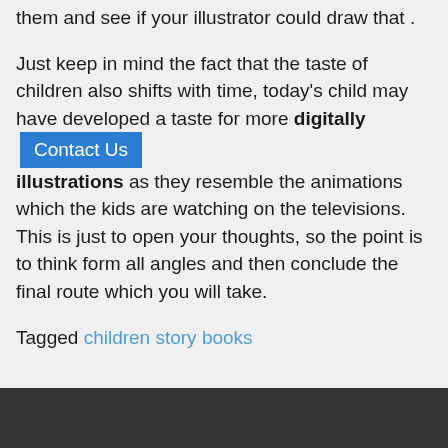them and see if your illustrator could draw that .
Just keep in mind the fact that the taste of children also shifts with time, today's child may have developed a taste for more digitally [Contact Us button] illustrations as they resemble the animations which the kids are watching on the televisions. This is just to open your thoughts, so the point is to think form all angles and then conclude the final route which you will take.
Tagged children story books